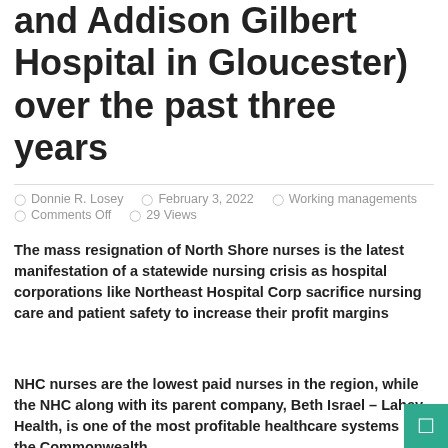and Addison Gilbert Hospital in Gloucester) over the past three years
Donnie R. Losey  February 3, 2022  Working managements  Comments Off  29 Views
The mass resignation of North Shore nurses is the latest manifestation of a statewide nursing crisis as hospital corporations like Northeast Hospital Corp sacrifice nursing care and patient safety to increase their profit margins
NHC nurses are the lowest paid nurses in the region, while the NHC along with its parent company, Beth Israel – Lahey Health, is one of the most profitable healthcare systems in the Commonwealth.
BEVERLY, Mass., February 3, 2022 /PRNewswire/ — Nurses at Northeast Hospital Corp. (NHC) have reached the limit of their endurance, after years of understaffing, excessive patient loads, management's use of forced overtime, and the dangers and challenges of providing patient care during the worst public health